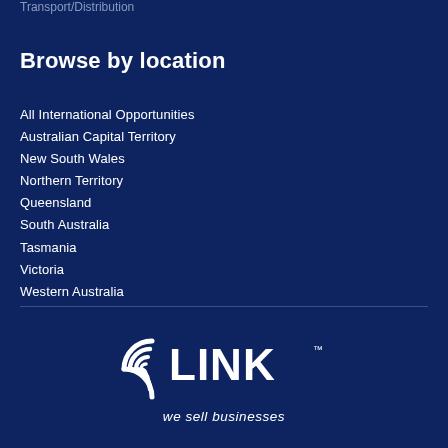Transport/Distribution
Browse by location
All International Opportunities
Australian Capital Territory
New South Wales
Northern Territory
Queensland
South Australia
Tasmania
Victoria
Western Australia
[Figure (logo): LINK Business logo with tagline 'we sell businesses']